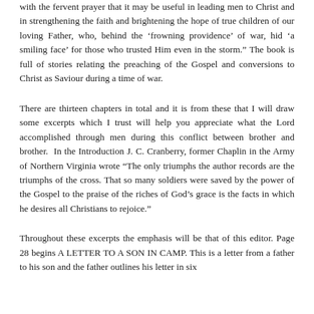with the fervent prayer that it may be useful in leading men to Christ and in strengthening the faith and brightening the hope of true children of our loving Father, who, behind the ‘frowning providence’ of war, hid ‘a smiling face’ for those who trusted Him even in the storm.” The book is full of stories relating the preaching of the Gospel and conversions to Christ as Saviour during a time of war.
There are thirteen chapters in total and it is from these that I will draw some excerpts which I trust will help you appreciate what the Lord accomplished through men during this conflict between brother and brother.  In the Introduction J. C. Cranberry, former Chaplin in the Army of Northern Virginia wrote “The only triumphs the author records are the triumphs of the cross. That so many soldiers were saved by the power of the Gospel to the praise of the riches of God’s grace is the facts in which he desires all Christians to rejoice.”
Throughout these excerpts the emphasis will be that of this editor. Page 28 begins A LETTER TO A SON IN CAMP. This is a letter from a father to his son and the father outlines his letter in six